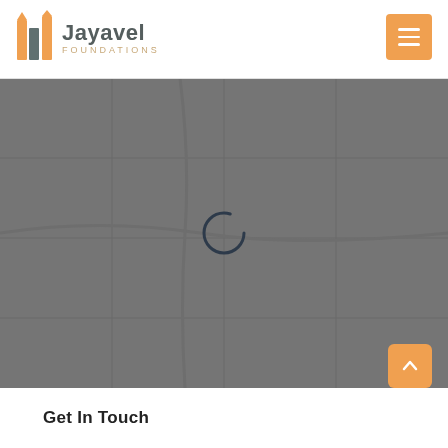[Figure (logo): Jayavel Foundations logo with building icon on left and company name on right]
[Figure (screenshot): Google Maps or similar map view with grey overlay and loading spinner in center]
[Figure (other): Orange scroll-to-top button with upward chevron arrow]
Get In Touch